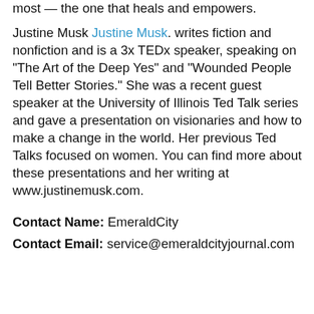most — the one that heals and empowers.
Justine Musk Justine Musk. writes fiction and nonfiction and is a 3x TEDx speaker, speaking on "The Art of the Deep Yes" and "Wounded People Tell Better Stories." She was a recent guest speaker at the University of Illinois Ted Talk series and gave a presentation on visionaries and how to make a change in the world. Her previous Ted Talks focused on women. You can find more about these presentations and her writing at www.justinemusk.com.
Contact Name: EmeraldCity
Contact Email: service@emeraldcityjournal.com